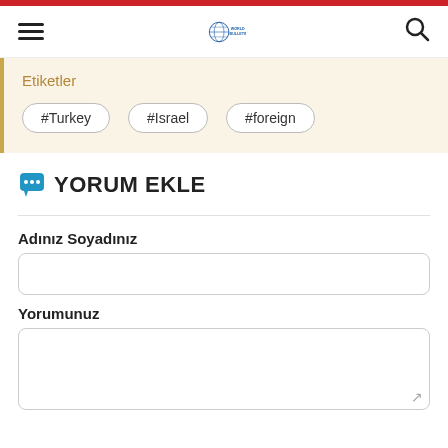World Bulletin
Etiketler
#Turkey
#Israel
#foreign
YORUM EKLE
Adınız Soyadınız
Yorumunuz